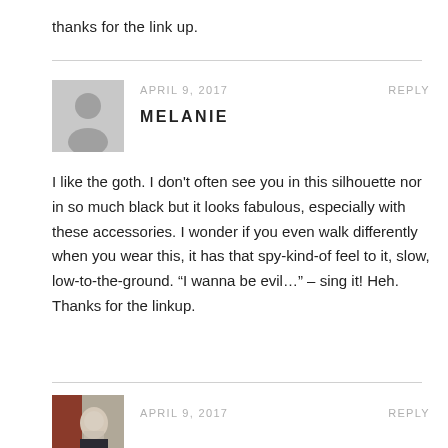thanks for the link up.
APRIL 9, 2017
REPLY
MELANIE
I like the goth. I don't often see you in this silhouette nor in so much black but it looks fabulous, especially with these accessories. I wonder if you even walk differently when you wear this, it has that spy-kind-of feel to it, slow, low-to-the-ground. “I wanna be evil…” – sing it! Heh. Thanks for the linkup.
APRIL 9, 2017
REPLY